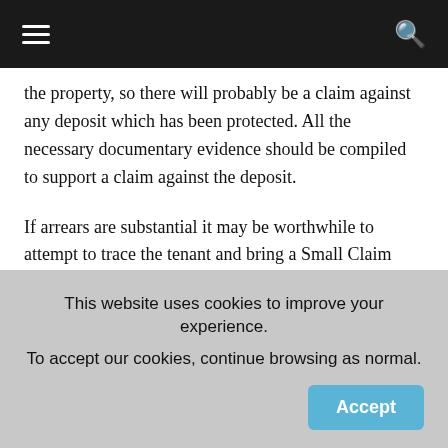the property, so there will probably be a claim against any deposit which has been protected. All the necessary documentary evidence should be compiled to support a claim against the deposit.
If arrears are substantial it may be worthwhile to attempt to trace the tenant and bring a Small Claim Court action.
Tracing is often successful given sufficient details on the tenant, though it can take several weeks or even months for a tenant to establish themselves in a new location and
This website uses cookies to improve your experience. To accept our cookies, continue browsing as normal.